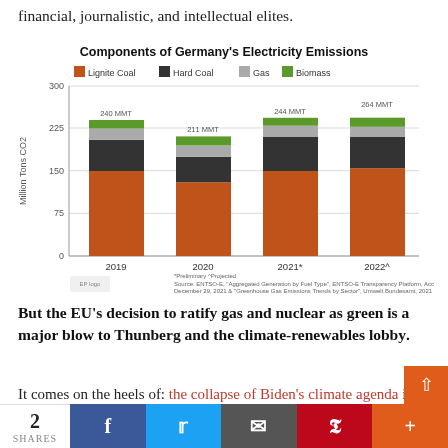financial, journalistic, and intellectual elites.
[Figure (stacked-bar-chart): Components of Germany's Electricity Emissions]
But the EU's decision to ratify gas and nuclear as green is a major blow to Thunberg and the climate-renewables lobby.
It comes on the heels of: the collapse of Biden's climate agenda in part because it would make the US dangerou…